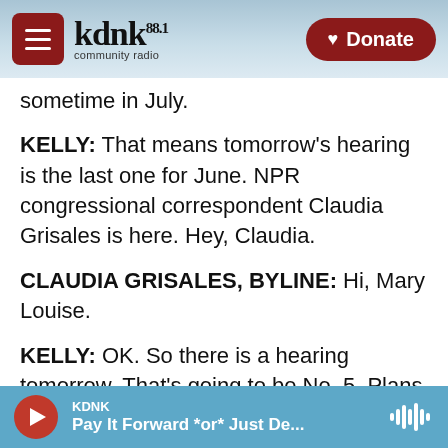KDNK 88.1 community radio — Donate button
sometime in July.
KELLY: That means tomorrow's hearing is the last one for June. NPR congressional correspondent Claudia Grisales is here. Hey, Claudia.
CLAUDIA GRISALES, BYLINE: Hi, Mary Louise.
KELLY: OK. So there is a hearing tomorrow. That's going to be No. 5. Plans seem to be evolving very much as they go. What more do you know?
GRISALES: Right. Thompson said two hearings initially planned for next week, which were focused
KDNK — Pay It Forward *or* Just De...